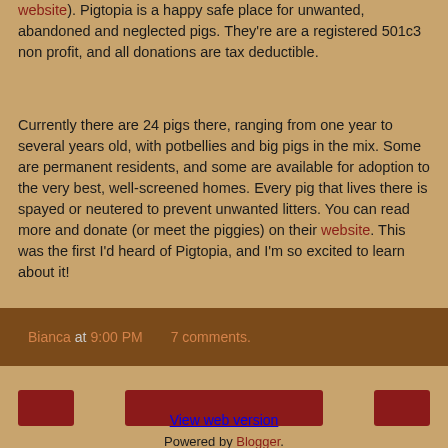website). Pigtopia is a happy safe place for unwanted, abandoned and neglected pigs. They're are a registered 501c3 non profit, and all donations are tax deductible.
Currently there are 24 pigs there, ranging from one year to several years old, with potbellies and big pigs in the mix. Some are permanent residents, and some are available for adoption to the very best, well-screened homes. Every pig that lives there is spayed or neutered to prevent unwanted litters. You can read more and donate (or meet the piggies) on their website. This was the first I'd heard of Pigtopia, and I'm so excited to learn about it!
Bianca at 9:00 PM   7 comments.
[Figure (other): Three dark red rectangular buttons in a row]
View web version
Powered by Blogger.